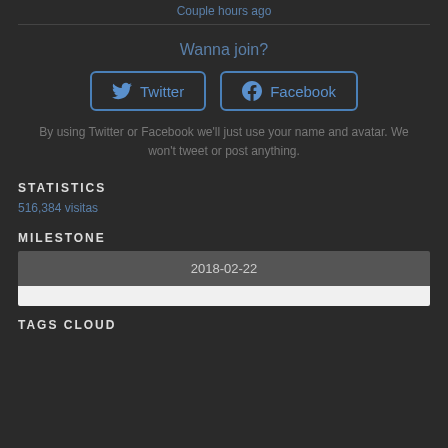Couple hours ago
Wanna join?
[Figure (other): Twitter login button with bird icon]
[Figure (other): Facebook login button with f icon]
By using Twitter or Facebook we'll just use your name and avatar. We won't tweet or post anything.
STATISTICS
516,384 visitas
MILESTONE
2018-02-22
TAGS CLOUD